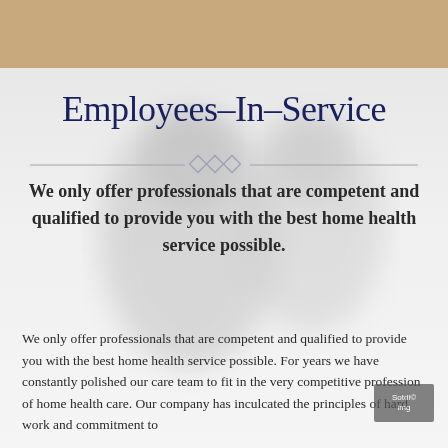[Figure (photo): Top tan/beige decorative banner strip]
Employees-In-Service
[Figure (illustration): Decorative horizontal divider with diamond/rhombus shapes in center]
We only offer professionals that are competent and qualified to provide you with the best home health service possible.
[Figure (photo): Blurred/ghosted background photo of two people, likely a caregiver and patient]
We only offer professionals that are competent and qualified to provide you with the best home health service possible. For years we have constantly polished our care team to fit in the very competitive profession of home health care. Our company has inculcated the principles of hard work and commitment to